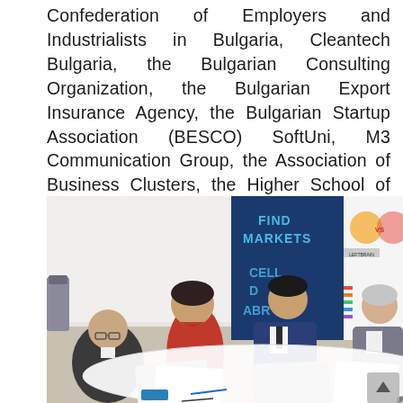Confederation of Employers and Industrialists in Bulgaria, Cleantech Bulgaria, the Bulgarian Consulting Organization, the Bulgarian Export Insurance Agency, the Bulgarian Startup Association (BESCO) SoftUni, M3 Communication Group, the Association of Business Clusters, the Higher School of Insurance and Finance and the Bulgarian Industrial Association.
[Figure (photo): Photo of four men seated and standing around a white table, signing documents. In the background are banners reading 'FIND MARKETS', 'CELL', 'ABROAD', and a colorful 'LEFT BRAIN vs RIGHT BRAIN' infographic poster.]